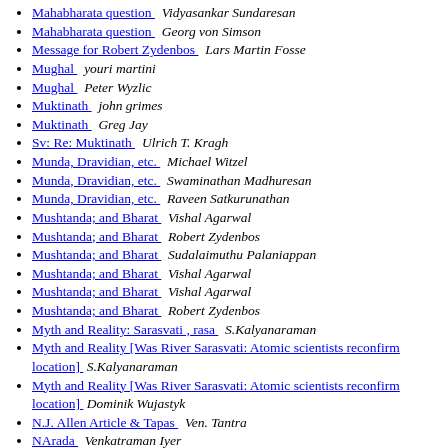Mahabharata question   Vidyasankar Sundaresan
Mahabharata question   Georg von Simson
Message for Robert Zydenbos   Lars Martin Fosse
Mughal   youri martini
Mughal   Peter Wyzlic
Muktinath   john grimes
Muktinath   Greg Jay
Sv: Re: Muktinath   Ulrich T. Kragh
Munda, Dravidian, etc.   Michael Witzel
Munda, Dravidian, etc.   Swaminathan Madhuresan
Munda, Dravidian, etc.   Raveen Satkurunathan
Mushtanda; and Bharat   Vishal Agarwal
Mushtanda; and Bharat   Robert Zydenbos
Mushtanda; and Bharat   Sudalaimuthu Palaniappan
Mushtanda; and Bharat   Vishal Agarwal
Mushtanda; and Bharat   Vishal Agarwal
Mushtanda; and Bharat   Robert Zydenbos
Myth and Reality: Sarasvati , rasa   S.Kalyanaraman
Myth and Reality [Was River Sarasvati: Atomic scientists reconfirm location]   S.Kalyanaraman
Myth and Reality [Was River Sarasvati: Atomic scientists reconfirm location]   Dominik Wujastyk
N.J. Allen Article & Tapas   Ven. Tantra
NArada   Venkatraman Iyer
NArada   Periannan Chandrasekaran